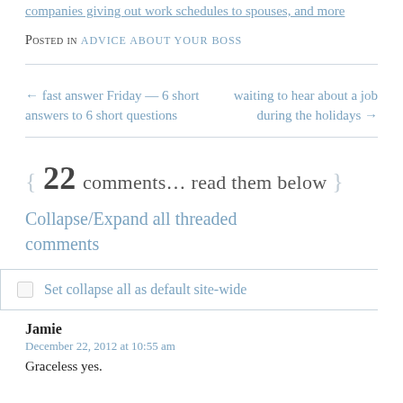companies giving out work schedules to spouses, and more
Posted in ADVICE ABOUT YOUR BOSS
← fast answer Friday — 6 short answers to 6 short questions
waiting to hear about a job during the holidays →
{ 22 comments… read them below }
Collapse/Expand all threaded comments
Set collapse all as default site-wide
Jamie
December 22, 2012 at 10:55 am
Graceless yes.